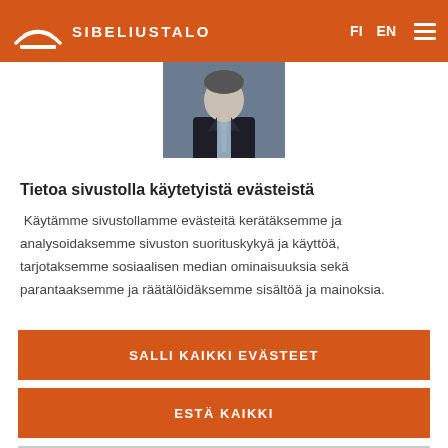SIBELIUSTALO — FI EN
[Figure (photo): Partial photo of a person in a dark suit with a tie, cropped to show upper body]
Tietoa sivustolla käytetyistä evästeistä
Käytämme sivustollamme evästeitä kerätäksemme ja analysoidaksemme sivuston suorituskykyä ja käyttöä, tarjotaksemme sosiaalisen median ominaisuuksia sekä parantaaksemme ja räätälöidäksemme sisältöä ja mainoksia.
SALLI KAIKKI EVÄSTEET
ESTÄ KAIKKI
EVÄSTEASETUKSET